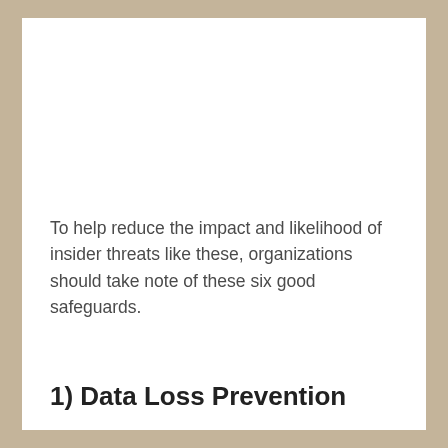To help reduce the impact and likelihood of insider threats like these, organizations should take note of these six good safeguards.
1) Data Loss Prevention